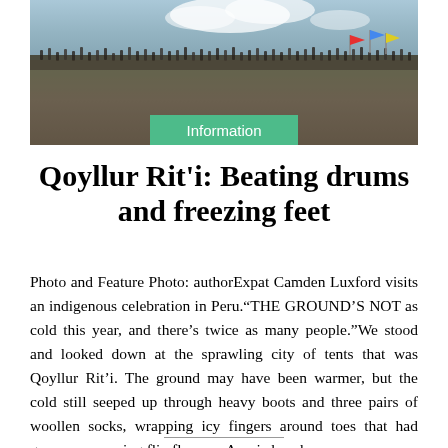[Figure (photo): Aerial or elevated view of a large crowd of people at an outdoor gathering, with mountains or hills in the background and some colorful flags or banners visible. An 'Information' badge overlays the bottom center of the image.]
Qoyllur Rit'i: Beating drums and freezing feet
Photo and Feature Photo: authorExpat Camden Luxford visits an indigenous celebration in Peru.“THE GROUND’S NOT as cold this year, and there’s twice as many people.”We stood and looked down at the sprawling city of tents that was Qoyllur Rit’i. The ground may have been warmer, but the cold still seeped up through heavy boots and three pairs of woollen socks, wrapping icy fingers around toes that had grown up wearing flip flops on Aussie beaches.